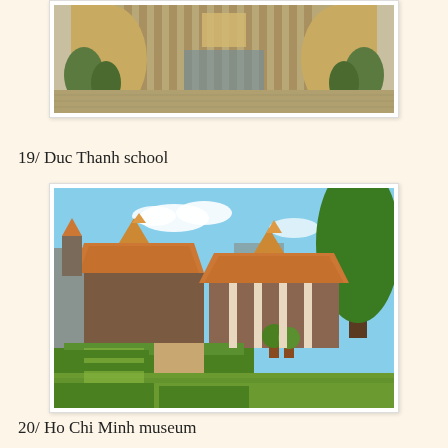[Figure (photo): Photo of a modern museum or institutional building with large cylindrical towers on each side, a patterned facade, and trees in the foreground. Partially cropped at top.]
19/ Duc Thanh school
[Figure (photo): Photo of Duc Thanh school with traditional Vietnamese architecture featuring tiled roofs with ornate decoration, surrounded by trimmed hedges, potted plants, and lush green trees under a blue sky.]
20/ Ho Chi Minh museum